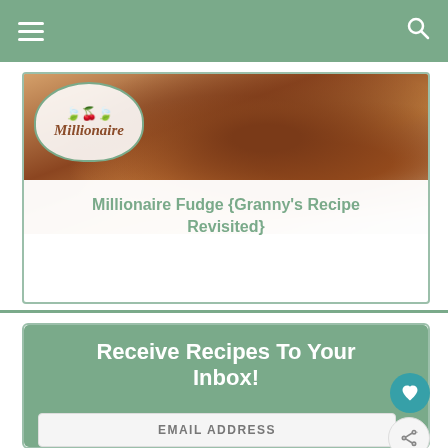Navigation bar with hamburger menu and search icon
[Figure (photo): Recipe card showing Millionaire Fudge with a chocolate fudge photo and a Millionaire logo overlay with holly decoration]
Millionaire Fudge {Granny's Recipe Revisited}
Receive Recipes To Your Inbox!
EMAIL ADDRESS